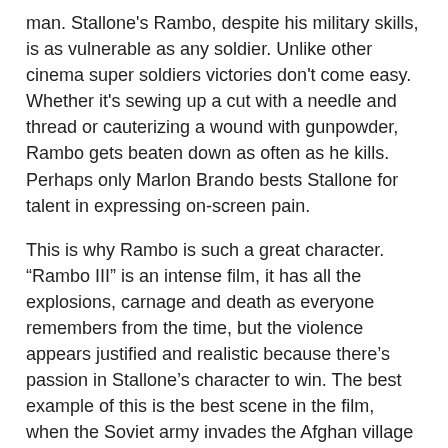man. Stallone's Rambo, despite his military skills, is as vulnerable as any soldier. Unlike other cinema super soldiers victories don't come easy. Whether it's sewing up a cut with a needle and thread or cauterizing a wound with gunpowder, Rambo gets beaten down as often as he kills. Perhaps only Marlon Brando bests Stallone for talent in expressing on-screen pain.
This is why Rambo is such a great character. “Rambo III” is an intense film, it has all the explosions, carnage and death as everyone remembers from the time, but the violence appears justified and realistic because there’s passion in Stallone’s character to win. The best example of this is the best scene in the film, when the Soviet army invades the Afghan village with a number of high tech gunships. Rambo’s lengthy run across the village to the lone artillery machine gun demonstrates the intense and determination of his character. He then destroys a multi-million dollar piece of a equipment with his raw power and determination. Enjoy.
Other related postings:
First Blood